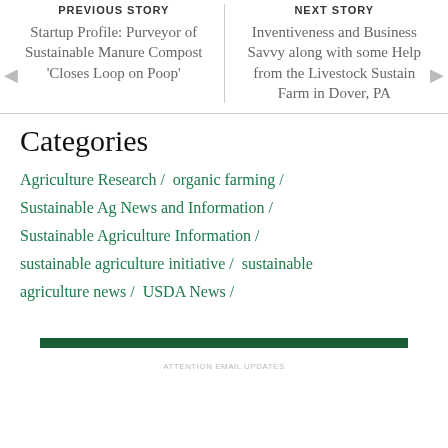PREVIOUS STORY
Startup Profile: Purveyor of Sustainable Manure Compost 'Closes Loop on Poop'
NEXT STORY
Inventiveness and Business Savvy along with some Help from the Livestock Sustain Farm in Dover, PA
Categories
Agriculture Research /
organic farming /
Sustainable Ag News and Information /
Sustainable Agriculture Information /
sustainable agriculture initiative /
sustainable agriculture news /
USDA News /